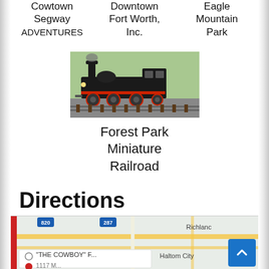Cowtown Segway ADVENTURES
Downtown Fort Worth, Inc.
Eagle Mountain Park
[Figure (photo): A miniature steam locomotive train on tracks, black colored with red accents, outdoors on grass]
Forest Park Miniature Railroad
Directions
[Figure (map): Google Maps screenshot showing area around Fort Worth/Haltom City/Richland area with route 820, route 287, and a search result showing 'THE COWBOY F...' pin]